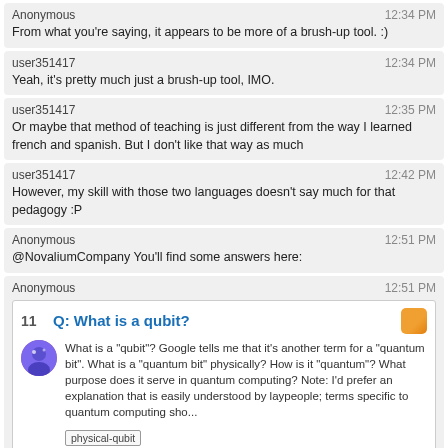Anonymous | 12:34 PM
From what you're saying, it appears to be more of a brush-up tool. :)
user351417 | 12:34 PM
Yeah, it's pretty much just a brush-up tool, IMO.
user351417 | 12:35 PM
Or maybe that method of teaching is just different from the way I learned french and spanish. But I don't like that way as much
user351417 | 12:42 PM
However, my skill with those two languages doesn't say much for that pedagogy :P
Anonymous | 12:51 PM
@NovaliumCompany You'll find some answers here:
[Figure (screenshot): Embedded Stack Exchange question card: vote count 11, title 'Q: What is a qubit?', body text about quantum bits, tag 'physical-qubit']
Anonymous | 12:51 PM
...but I doubt any of them will be satisfactory for you.
Anonymous | 12:54 PM